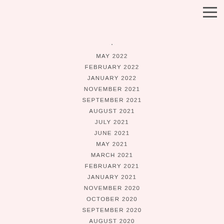[Figure (other): Hamburger menu icon (three horizontal lines) in top right corner]
·
MAY 2022
FEBRUARY 2022
JANUARY 2022
NOVEMBER 2021
SEPTEMBER 2021
AUGUST 2021
JULY 2021
JUNE 2021
MAY 2021
MARCH 2021
FEBRUARY 2021
JANUARY 2021
NOVEMBER 2020
OCTOBER 2020
SEPTEMBER 2020
AUGUST 2020
JULY 2020
JUNE 2020